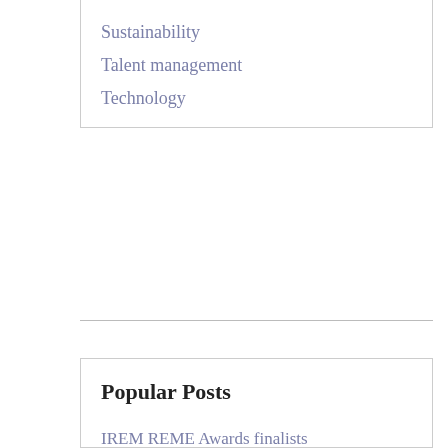Sustainability
Talent management
Technology
Popular Posts
IREM REME Awards finalists
A seat at the table
Upside down
Fresh perspectives on prospective tenants
Menlyn Park